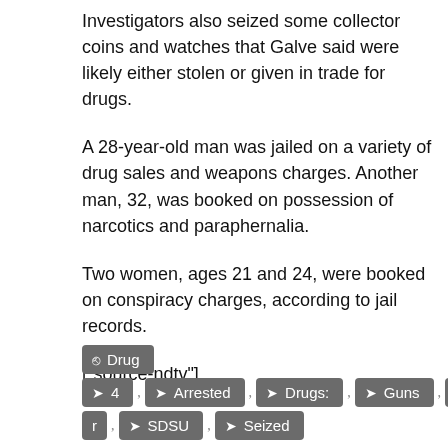Investigators also seized some collector coins and watches that Galve said were likely either stolen or given in trade for drugs.
A 28-year-old man was jailed on a variety of drug sales and weapons charges. Another man, 32, was booked on possession of narcotics and paraphernalia.
Two women, ages 21 and 24, were booked on conspiracy charges, according to jail records.
["source-ndtv"]
Drug   4   Arrested   Drugs:   Guns   Nea   r   SDSU   Seized